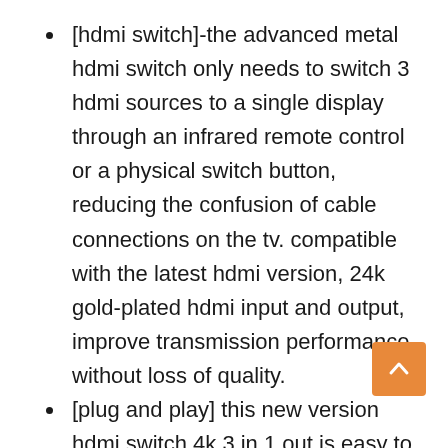[hdmi switch]-the advanced metal hdmi switch only needs to switch 3 hdmi sources to a single display through an infrared remote control or a physical switch button, reducing the confusion of cable connections on the tv. compatible with the latest hdmi version, 24k gold-plated hdmi input and output, improve transmission performance without loss of quality.
[plug and play] this new version hdmi switch 4k 3 in 1 out is easy to